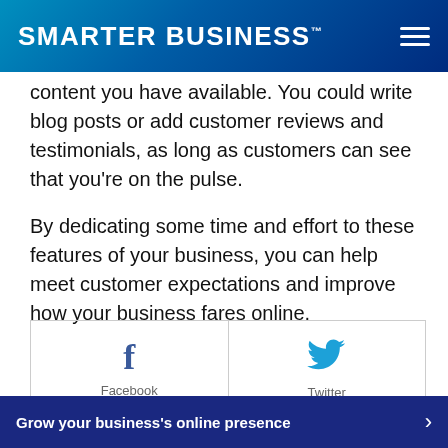SMARTER BUSINESS™
content you have available. You could write blog posts or add customer reviews and testimonials, as long as customers can see that you're on the pulse.
By dedicating some time and effort to these features of your business, you can help meet customer expectations and improve how your business fares online.
[Figure (infographic): Social share widget with Facebook and Twitter icons. Facebook icon on left with 'Share This' button below. Twitter bird icon on right with 'Tweet This' button below.]
Grow your business's online presence